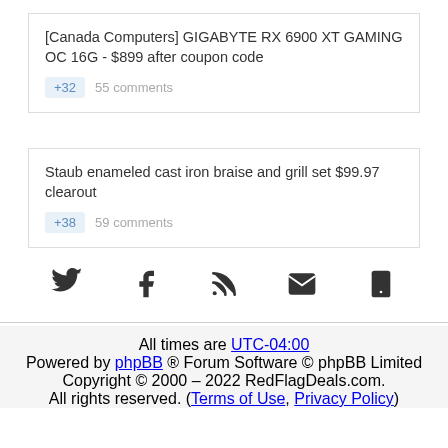[Canada Computers] GIGABYTE RX 6900 XT GAMING OC 16G - $899 after coupon code
+32  55 comments
Staub enameled cast iron braise and grill set $99.97 clearout
+38  59 comments
[Figure (infographic): Social media icons row: Twitter, Facebook, RSS, Email, Mobile]
All times are UTC-04:00
Powered by phpBB ® Forum Software © phpBB Limited
Copyright © 2000 – 2022 RedFlagDeals.com.
All rights reserved. (Terms of Use, Privacy Policy)